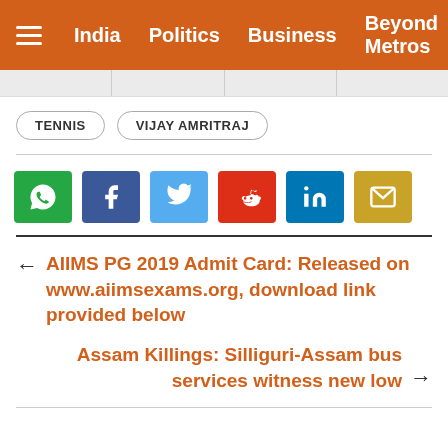India  Politics  Business  Beyond Metros
TENNIS
VIJAY AMRITRAJ
[Figure (infographic): Social share buttons: WhatsApp (green), Facebook (dark blue), Twitter (light blue), Reddit (red), LinkedIn (blue), Email (yellow)]
← AIIMS PG 2019 Admit Card: Released on www.aiimsexams.org, download link provided below
Assam Killings: Silliguri-Assam bus services witness new low →